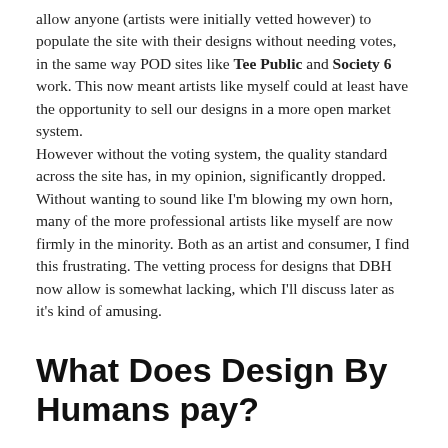allow anyone (artists were initially vetted however) to populate the site with their designs without needing votes, in the same way POD sites like Tee Public and Society 6 work. This now meant artists like myself could at least have the opportunity to sell our designs in a more open market system.
However without the voting system, the quality standard across the site has, in my opinion, significantly dropped. Without wanting to sound like I'm blowing my own horn, many of the more professional artists like myself are now firmly in the minority. Both as an artist and consumer, I find this frustrating. The vetting process for designs that DBH now allow is somewhat lacking, which I'll discuss later as it's kind of amusing.
What Does Design By Humans pay?
DBH is one of several POD sites I have experimented with over the years, which does typically earn me at least something each month; even if it's just a couple of bucks. Although it's hard to say whether or not I'd recommend other aspiring artists and designers bothering with it.